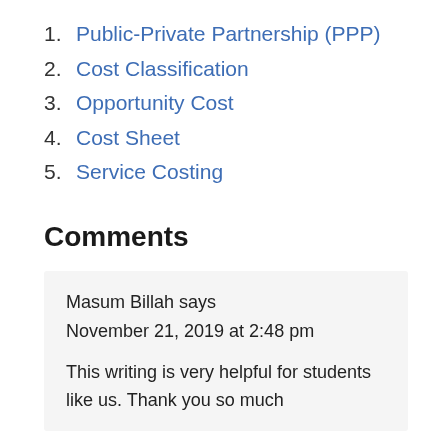1. Public-Private Partnership (PPP)
2. Cost Classification
3. Opportunity Cost
4. Cost Sheet
5. Service Costing
Comments
Masum Billah says
November 21, 2019 at 2:48 pm

This writing is very helpful for students like us. Thank you so much